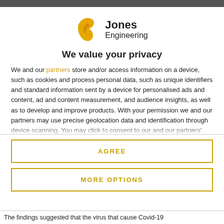[Figure (logo): Jones Engineering logo with yellow flame-like N symbol and company name]
We value your privacy
We and our partners store and/or access information on a device, such as cookies and process personal data, such as unique identifiers and standard information sent by a device for personalised ads and content, ad and content measurement, and audience insights, as well as to develop and improve products. With your permission we and our partners may use precise geolocation data and identification through device scanning. You may click to consent to our and our partners' processing as described above. Alternatively you may access more detailed information and change your preferences before consenting
AGREE
MORE OPTIONS
The findings suggested that the virus that cause Covid-19